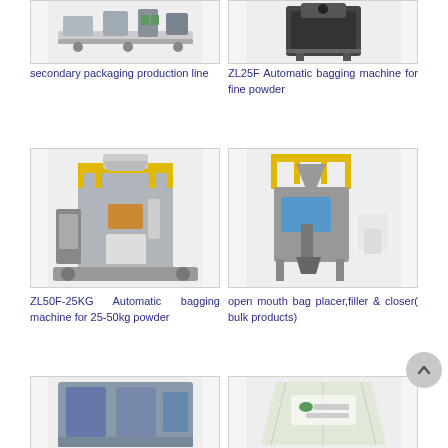[Figure (photo): Secondary packaging production line machine - conveyor and palletizing equipment]
secondary packaging production line
[Figure (photo): ZL25F Automatic bagging machine for fine powder]
ZL25F Automatic bagging machine for fine powder
[Figure (photo): ZL50F-25KG Automatic bagging machine for 25-50kg powder - large industrial bagging machine]
ZL50F-25KG Automatic bagging machine for 25-50kg powder
[Figure (photo): Open mouth bag placer, filler & closer for bulk products - industrial bulk bagging system]
open mouth bag placer,filler & closer( bulk products)
[Figure (photo): Partial view of another packaging machine at bottom left]
[Figure (photo): Florikan bag / bulk packaging product at bottom right]